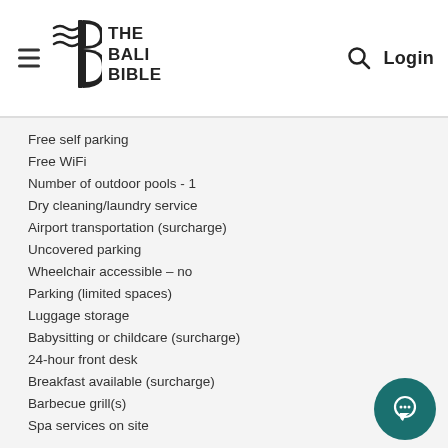THE BALI BIBLE — Login
Free self parking
Free WiFi
Number of outdoor pools - 1
Dry cleaning/laundry service
Airport transportation (surcharge)
Uncovered parking
Wheelchair accessible – no
Parking (limited spaces)
Luggage storage
Babysitting or childcare (surcharge)
24-hour front desk
Breakfast available (surcharge)
Barbecue grill(s)
Spa services on site